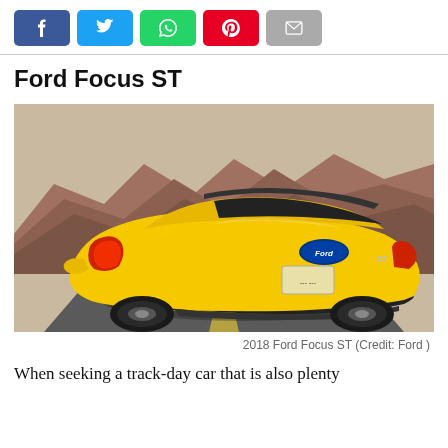[Figure (other): Social media share buttons: Facebook (blue), Twitter (light blue), WhatsApp (green), Pinterest (red), Email (gray)]
[Figure (photo): Yellow 2018 Ford Focus ST hatchback driving on a road with rocky desert mountains in the background, rear three-quarter view showing spoiler and dual exhaust]
2018 Ford Focus ST (Credit: Ford )
Ford Focus ST
When seeking a track-day car that is also plenty